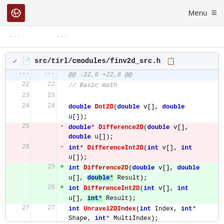Menu
[Figure (screenshot): Code diff view for src/tirl/cmodules/finv2d_src.h showing removed and added lines for Difference2D and DifferenceInt2D functions]
@@ -22,8 +22,8 @@
22 22  // Basic math
23 23
24 24  double Dot2D(double v[], double u[]);
25     - double* Difference2D(double v[], double u[]);
26     - int* DifferenceInt2D(int v[], int u[]);
   25  + int Difference2D(double v[], double u[], double* Result);
   26  + int DifferenceInt2D(int v[], int u[], int* Result);
27 27  int Unravel2DIndex(int Index, int* Shape, int* MultiIndex);
28 28  int Ravel2DIndex(int* MultiIndex,